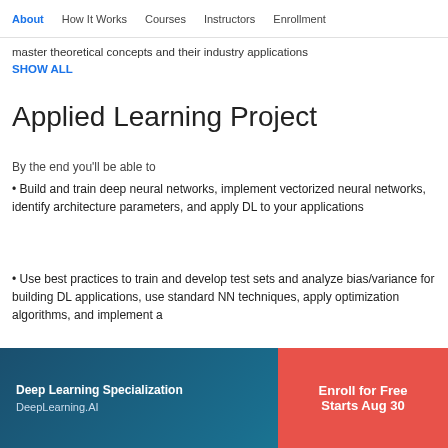About | How It Works | Courses | Instructors | Enrollment
master theoretical concepts and their industry applications
SHOW ALL
Applied Learning Project
By the end you'll be able to
• Build and train deep neural networks, implement vectorized neural networks, identify architecture parameters, and apply DL to your applications
• Use best practices to train and develop test sets and analyze bias/variance for building DL applications, use standard NN techniques, apply optimization algorithms, and implement a
Deep Learning Specialization
DeepLearning.AI
Enroll for Free
Starts Aug 30